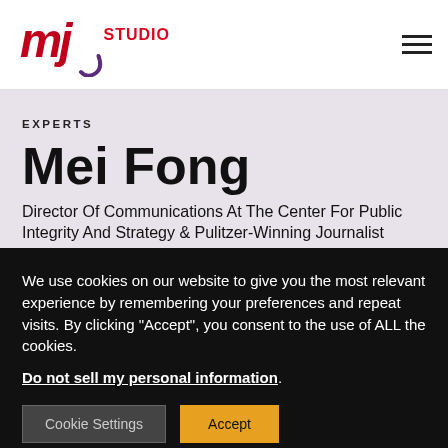[Figure (logo): MJ Studio logo with stylized text and red/black design]
EXPERTS
Mei Fong
Director Of Communications At The Center For Public Integrity And Strategy & Pulitzer-Winning Journalist
We use cookies on our website to give you the most relevant experience by remembering your preferences and repeat visits. By clicking "Accept", you consent to the use of ALL the cookies.
Do not sell my personal information.
Cookie Settings  Accept